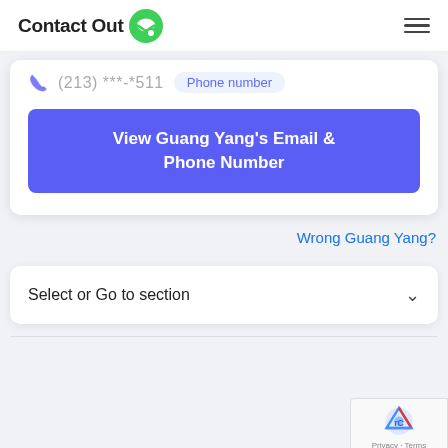ContactOut
(213) ***-*511  Phone number
View Guang Yang's Email & Phone Number
Wrong Guang Yang?
Select or Go to section